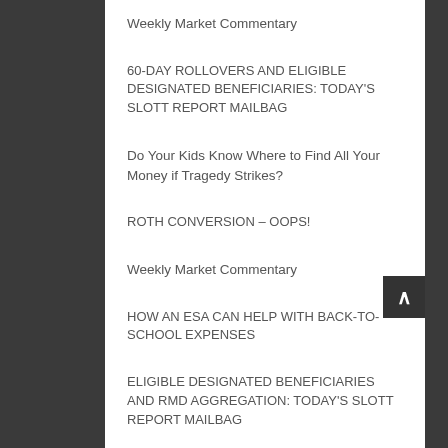Weekly Market Commentary
60-DAY ROLLOVERS AND ELIGIBLE DESIGNATED BENEFICIARIES: TODAY'S SLOTT REPORT MAILBAG
Do Your Kids Know Where to Find All Your Money if Tragedy Strikes?
ROTH CONVERSION – OOPS!
Weekly Market Commentary
HOW AN ESA CAN HELP WITH BACK-TO-SCHOOL EXPENSES
ELIGIBLE DESIGNATED BENEFICIARIES AND RMD AGGREGATION: TODAY'S SLOTT REPORT MAILBAG
Happy Retirees Have These 7 Habits in